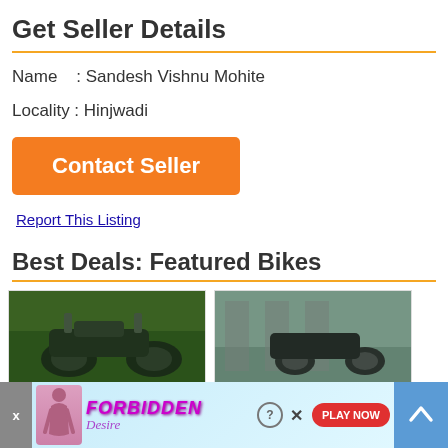Get Seller Details
Name   : Sandesh Vishnu Mohite
Locality : Hinjwadi
Contact Seller
Report This Listing
Best Deals: Featured Bikes
[Figure (photo): Two featured bike listing cards shown side by side with photos of motorcycles]
[Figure (infographic): Advertisement banner for 'Forbidden Desire' with play now button and close controls]